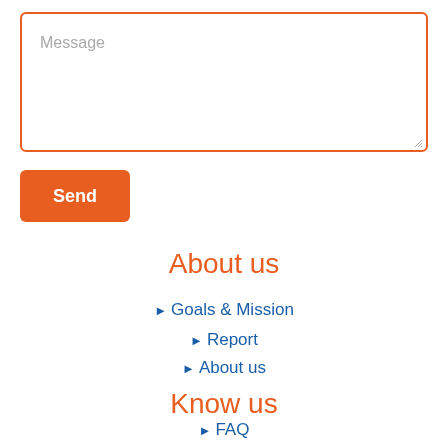Message
Send
About us
Goals & Mission
Report
About us
Know us
FAQ
Term & Condition
Resource